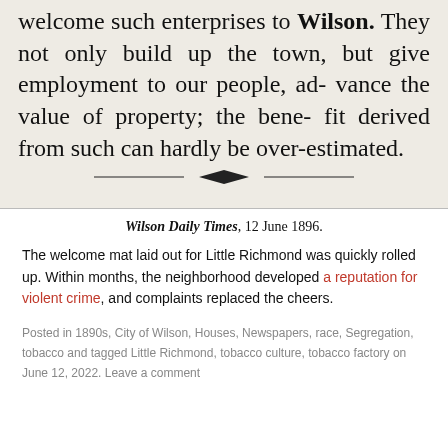[Figure (photo): Scanned newspaper clipping with large serif text reading: '...Little Richmond. We are glad to welcome such enterprises to Wilson. They not only build up the town, but give employment to our people, advance the value of property; the benefit derived from such can hardly be over-estimated.' followed by a decorative horizontal rule divider.]
Wilson Daily Times, 12 June 1896.
The welcome mat laid out for Little Richmond was quickly rolled up. Within months, the neighborhood developed a reputation for violent crime, and complaints replaced the cheers.
Posted in 1890s, City of Wilson, Houses, Newspapers, race, Segregation, tobacco and tagged Little Richmond, tobacco culture, tobacco factory on June 12, 2022. Leave a comment